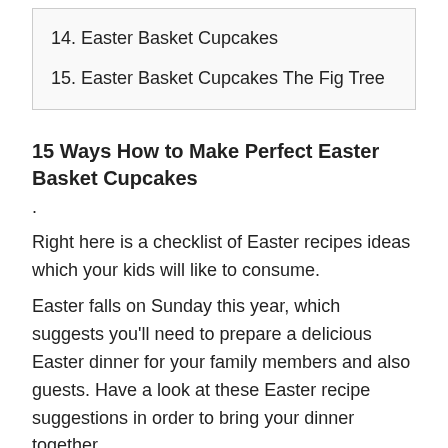14. Easter Basket Cupcakes
15. Easter Basket Cupcakes The Fig Tree
15 Ways How to Make Perfect Easter Basket Cupcakes
.
Right here is a checklist of Easter recipes ideas which your kids will like to consume.
Easter falls on Sunday this year, which suggests you'll need to prepare a delicious Easter dinner for your family members and also guests. Have a look at these Easter recipe suggestions in order to bring your dinner together.
Hey there, Easter is almost here. Do you have any kind of trendy Easter recipe suggestions? No? No concerns. I've got you covered with these super